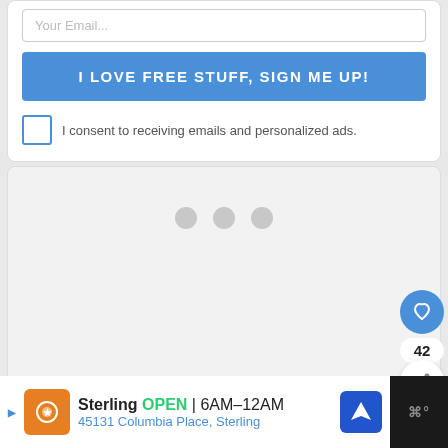Your Email...
I LOVE FREE STUFF, SIGN ME UP!
I consent to receiving emails and personalized ads.
[Figure (screenshot): Loading spinner area with three grey dots indicating content loading]
[Figure (infographic): Like button (blue circle with heart icon), count of 42, and share button below]
WHAT'S NEXT → Coding For Homeschool...
Sterling  OPEN  6AM–12AM  45131 Columbia Place, Sterling